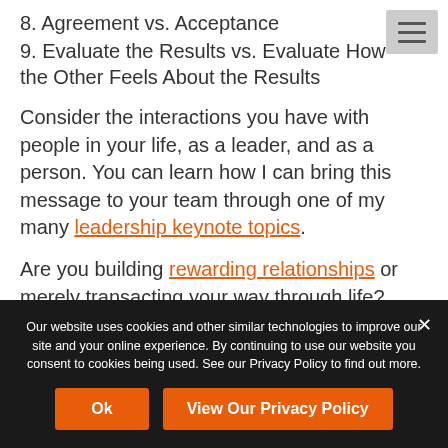8. Agreement vs. Acceptance
9. Evaluate the Results vs. Evaluate How the Other Feels About the Results
Consider the interactions you have with people in your life, as a leader, and as a person. You can learn how I can bring this message to your team through one of my many leadership keynote topics.
Are you building rewarding relationships or merely transacting your way through life?
To learn more about the importance of taking different
Our website uses cookies and other similar technologies to improve our site and your online experience. By continuing to use our website you consent to cookies being used. See our Privacy Policy to find out more.
Ok
View Our Privacy Policy